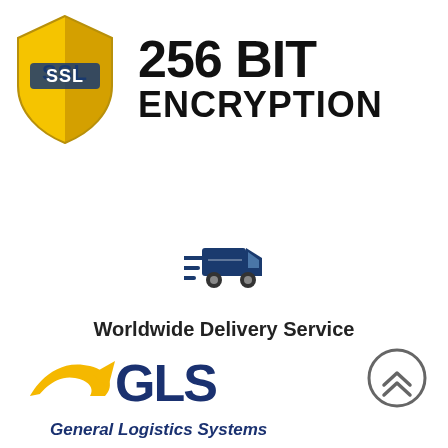[Figure (logo): SSL shield badge with text '256 BIT ENCRYPTION' — golden shield with SSL label on left, bold black text on right]
[Figure (logo): Blue fast-delivery truck icon with speed lines, above text 'Worldwide Delivery Service']
Worldwide Delivery Service
[Figure (logo): GLS General Logistics Systems logo — yellow swoosh arrow with dark blue GLS lettering and tagline 'General Logistics Systems', plus a grey circular up-arrow icon on the right]